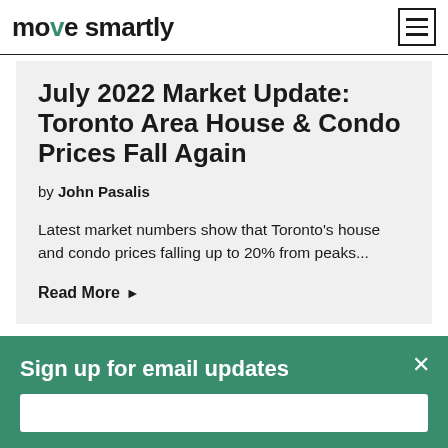move smartly
July 2022 Market Update: Toronto Area House & Condo Prices Fall Again
by John Pasalis
Latest market numbers show that Toronto's house and condo prices falling up to 20% from peaks...
Read More ▶
Sign up for email updates